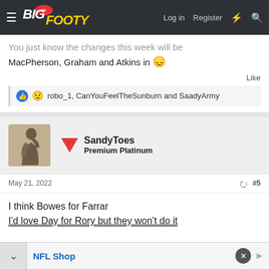BigFooty — Log in | Register
You just know the changes this week will be MacPherson, Graham and Atkins in 😞
Like
robo_1, CanYouFeelTheSunburn and SaadyArmy
SandyToes
Premium Platinum
May 21, 2022   #5
I think Bowes for Farrar
I'd love Day for Rory but they won't do it
NFL Shop